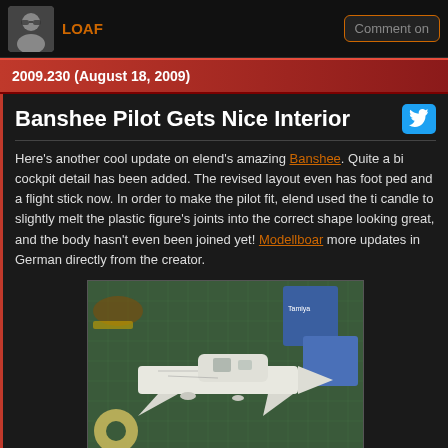LOAF | Comment on
2009.230 (August 18, 2009)
Banshee Pilot Gets Nice Interior
Here's another cool update on elend's amazing Banshee. Quite a bit of cockpit detail has been added. The revised layout even has foot ped and a flight stick now. In order to make the pilot fit, elend used the ti candle to slightly melt the plastic figure's joints into the correct shape. looking great, and the body hasn't even been joined yet! Modellboar more updates in German directly from the creator.
[Figure (photo): Photo of a scale model spacecraft/aircraft (Banshee) in white plastic on a green cutting mat, with blue boxes in background and tape roll visible]
[Figure (photo): Second photo of the same Banshee model build, partially visible at bottom of page]